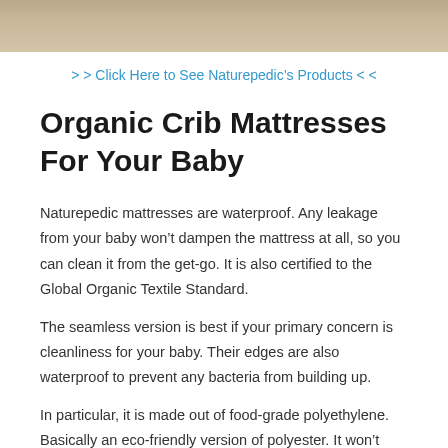[Figure (photo): Partial photo of what appears to be a mattress or bedding, shown as a cropped strip at the top of the page with beige/tan tones.]
> > Click Here to See Naturepedic’s Products < <
Organic Crib Mattresses For Your Baby
Naturepedic mattresses are waterproof. Any leakage from your baby won’t dampen the mattress at all, so you can clean it from the get-go. It is also certified to the Global Organic Textile Standard.
The seamless version is best if your primary concern is cleanliness for your baby. Their edges are also waterproof to prevent any bacteria from building up.
In particular, it is made out of food-grade polyethylene. Basically an eco-friendly version of polyester. It won’t cause any harm if you wash it in the washing machine.